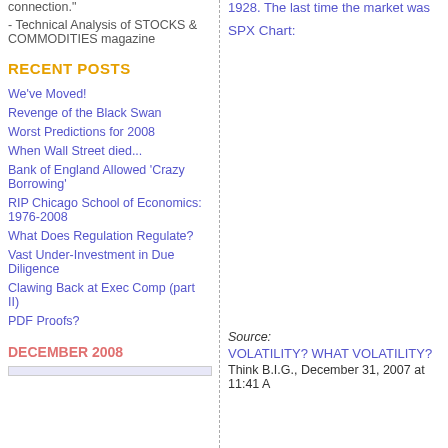connection."
- Technical Analysis of STOCKS & COMMODITIES magazine
RECENT POSTS
We've Moved!
Revenge of the Black Swan
Worst Predictions for 2008
When Wall Street died...
Bank of England Allowed 'Crazy Borrowing'
RIP Chicago School of Economics: 1976-2008
What Does Regulation Regulate?
Vast Under-Investment in Due Diligence
Clawing Back at Exec Comp (part II)
PDF Proofs?
DECEMBER 2008
1928. The last time the market was
SPX Chart:
[Figure (other): SPX Chart area (blank/image missing)]
Source:
VOLATILITY? WHAT VOLATILITY?
Think B.I.G., December 31, 2007 at 11:41 A